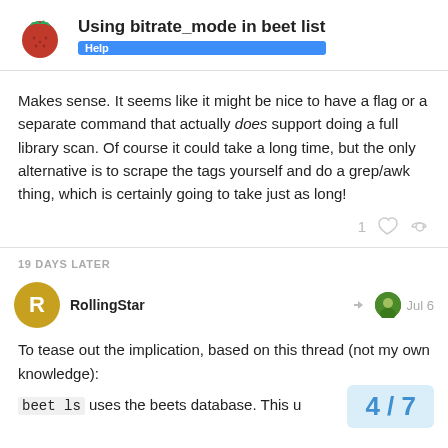Using bitrate_mode in beet list | Help
Makes sense. It seems like it might be nice to have a flag or a separate command that actually does support doing a full library scan. Of course it could take a long time, but the only alternative is to scrape the tags yourself and do a grep/awk thing, which is certainly going to take just as long!
19 DAYS LATER
RollingStar — Jul 6
To tease out the implication, based on this thread (not my own knowledge):
beet ls uses the beets database. This u